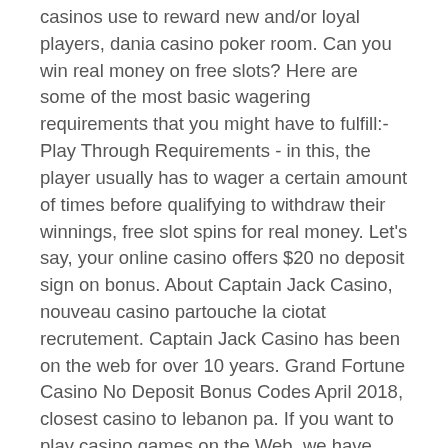casinos use to reward new and/or loyal players, dania casino poker room. Can you win real money on free slots? Here are some of the most basic wagering requirements that you might have to fulfill:- Play Through Requirements - in this, the player usually has to wager a certain amount of times before qualifying to withdraw their winnings, free slot spins for real money. Let's say, your online casino offers $20 no deposit sign on bonus. About Captain Jack Casino, nouveau casino partouche la ciotat recrutement. Captain Jack Casino has been on the web for over 10 years. Grand Fortune Casino No Deposit Bonus Codes April 2018, closest casino to lebanon pa. If you want to play casino games on the Web, we have compiled a selection of. Top Wireless Presenter Remote Control To Buy This Year, hitman blood money casino elevator. Are you looking for a suitable presentation pen at the best price? Then claim a 200% Welcome...